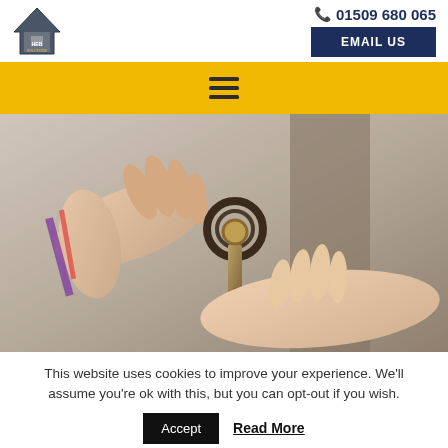[Figure (logo): HEB Solutions logo — house icon shape in dark blue/grey with HEB SOLUTIONS text]
📞 01509 680 065
EMAIL US
[Figure (other): Yellow navigation bar with hamburger menu icon (three horizontal lines)]
[Figure (photo): Photo of two people exchanging house keys with a house-shaped keyring — property/real estate theme]
This website uses cookies to improve your experience. We'll assume you're ok with this, but you can opt-out if you wish.
Accept
Read More